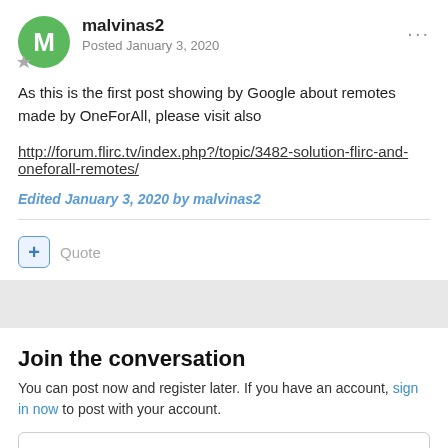malvinas2 | Posted January 3, 2020
As this is the first post showing by Google about remotes made by OneForAll, please visit also
http://forum.flirc.tv/index.php?/topic/3482-solution-flirc-and-oneforall-remotes/
Edited January 3, 2020 by malvinas2
Quote
Join the conversation
You can post now and register later. If you have an account, sign in now to post with your account.